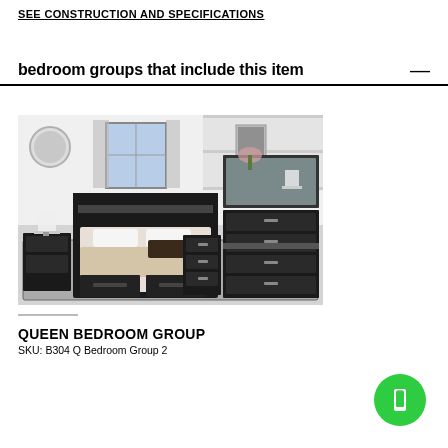SEE CONSTRUCTION AND SPECIFICATIONS
bedroom groups that include this item
[Figure (photo): Queen bedroom group with dark wood furniture including bed with storage drawers, nightstand, dresser with mirror, and chest, on a patterned rug in a light room.]
QUEEN BEDROOM GROUP
SKU: B304 Q Bedroom Group 2